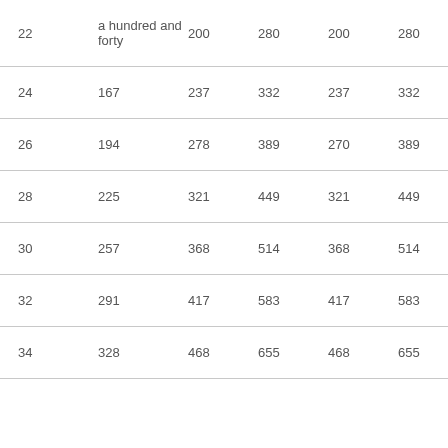| 22 | a hundred and forty | 200 | 280 | 200 | 280 |
| 24 | 167 | 237 | 332 | 237 | 332 |
| 26 | 194 | 278 | 389 | 270 | 389 |
| 28 | 225 | 321 | 449 | 321 | 449 |
| 30 | 257 | 368 | 514 | 368 | 514 |
| 32 | 291 | 417 | 583 | 417 | 583 |
| 34 | 328 | 468 | 655 | 468 | 655 |